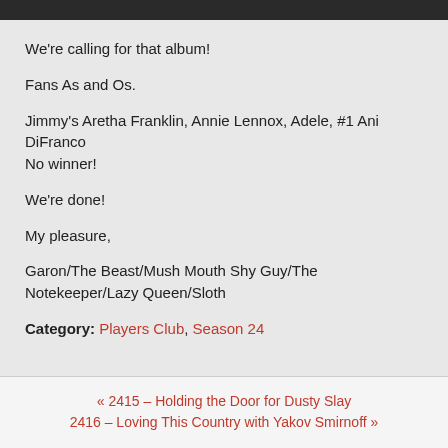[Figure (photo): Dark image strip at the top of the page]
We're calling for that album!
Fans As and Os.
Jimmy's Aretha Franklin, Annie Lennox, Adele, #1 Ani DiFranco
No winner!
We're done!
My pleasure,
Garon/The Beast/Mush Mouth Shy Guy/The Notekeeper/Lazy Queen/Sloth
Category: Players Club, Season 24
« 2415 – Holding the Door for Dusty Slay
2416 – Loving This Country with Yakov Smirnoff »